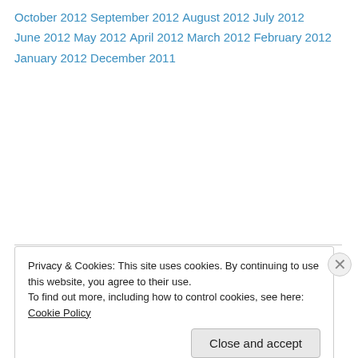October 2012
September 2012
August 2012
July 2012
June 2012
May 2012
April 2012
March 2012
February 2012
January 2012
December 2011
Privacy & Cookies: This site uses cookies. By continuing to use this website, you agree to their use. To find out more, including how to control cookies, see here: Cookie Policy
Close and accept